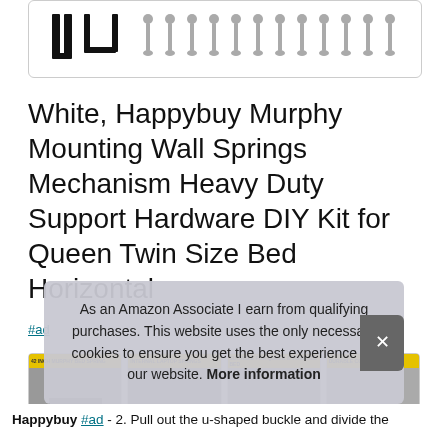[Figure (photo): Product image showing black Murphy bed mounting hardware and screws against white background, inside a rounded-corner box]
White, Happybuy Murphy Mounting Wall Springs Mechanism Heavy Duty Support Hardware DIY Kit for Queen Twin Size Bed Horizontal
#ad
[Figure (photo): Row of four product thumbnail images with yellow banner labels at the top]
As an Amazon Associate I earn from qualifying purchases. This website uses the only necessary cookies to ensure you get the best experience on our website. More information
Happybuy #ad - 2. Pull out the u-shaped buckle and divide the